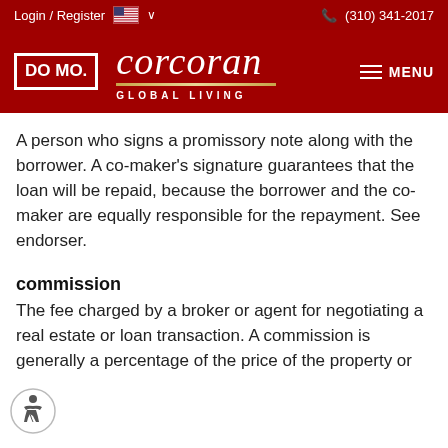Login / Register   🇺🇸 ∨   (310) 341-2017
[Figure (logo): DOMO and Corcoran Global Living logo on dark red background with hamburger menu]
A person who signs a promissory note along with the borrower. A co-maker's signature guarantees that the loan will be repaid, because the borrower and the co-maker are equally responsible for the repayment. See endorser.
commission
The fee charged by a broker or agent for negotiating a real estate or loan transaction. A commission is generally a percentage of the price of the property or